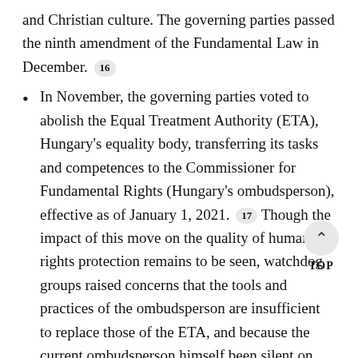and Christian culture. The governing parties passed the ninth amendment of the Fundamental Law in December. 16
In November, the governing parties voted to abolish the Equal Treatment Authority (ETA), Hungary's equality body, transferring its tasks and competences to the Commissioner for Fundamental Rights (Hungary's ombudsperson), effective as of January 1, 2021. 17 Though the impact of this move on the quality of human rights protection remains to be seen, watchdog groups raised concerns that the tools and practices of the ombudsperson are insufficient to replace those of the ETA, and because the current ombudsperson himself been silent on human rights violations over the past year. 18
Hungarian refugee policy became even more restrictive in 2020. In May, the European Court of